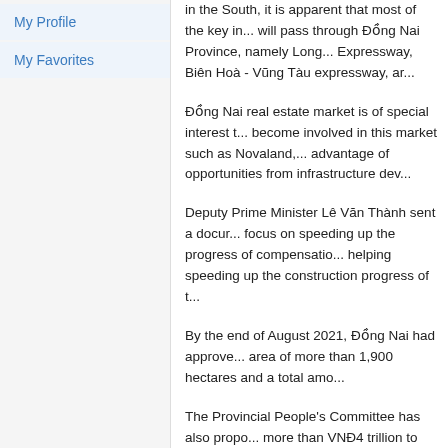My Profile
My Favorites
in the South, it is apparent that most of the key in... will pass through Đồng Nai Province, namely Long... Expressway, Biên Hoà - Vũng Tàu expressway, ar...
Đồng Nai real estate market is of special interest t... become involved in this market such as Novaland,... advantage of opportunities from infrastructure dev...
Deputy Prime Minister Lê Văn Thành sent a docur... focus on speeding up the progress of compensatio... helping speeding up the construction progress of t...
By the end of August 2021, Đồng Nai had approve... area of more than 1,900 hectares and a total amo...
The Provincial People's Committee has also propo... more than VNĐ4 trillion to invest in two roads con... 763 and provincial road 770B.
According to analysts, real estate projects located...
Notably, the Gem Sky World urban area project de... of infrastructure and synchronous design of the ar...
The project attracted many customers. Its self-buil... per square metre but now, after a year of opening... million per square metre, up by 70 per cent.
The attraction of Đồng Nai's real estate market als...